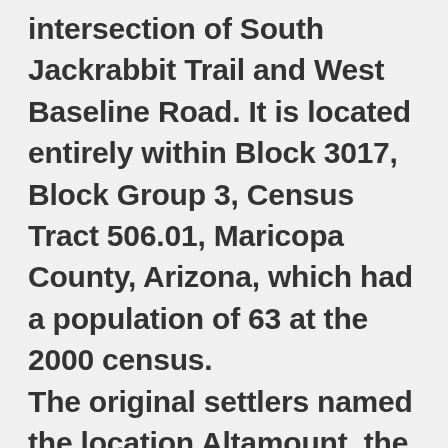intersection of South Jackrabbit Trail and West Baseline Road. It is located entirely within Block 3017, Block Group 3, Census Tract 506.01, Maricopa County, Arizona, which had a population of 63 at the 2000 census. The original settlers named the location Altamount, the settlement soon became called Toothaker Place, after the first postmaster, Harriet Toothaker, who ran the post office out of her home. When the post office was relocated in 1901, it was renamed Sun Lakes, and with it the community. Sun Lakes is home to the Sun Lakes